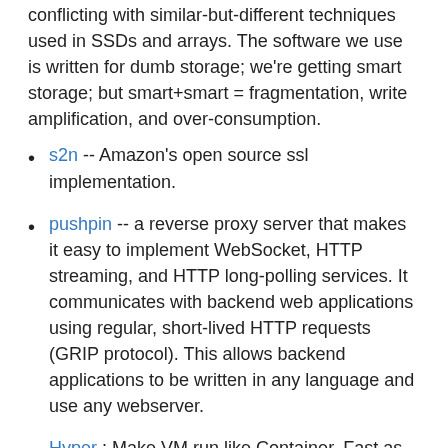conflicting with similar-but-different techniques used in SSDs and arrays. The software we use is written for dumb storage; we're getting smart storage; but smart+smart = fragmentation, write amplification, and over-consumption.
s2n -- Amazon's open source ssl implementation.
pushpin -- a reverse proxy server that makes it easy to implement WebSocket, HTTP streaming, and HTTP long-polling services. It communicates with backend web applications using regular, short-lived HTTP requests (GRIP protocol). This allows backend applications to be written in any language and use any webserver.
Hyper : Make VM run like Container. Fast as Container, Isolated by VM. Intersting approach, Upon the RUN command, Hyper launches a new VM instance, instead of containers, and mount the specified image onto the instance. Inside to the VM, a minimalist Linux kernel, called HyperKernel, is